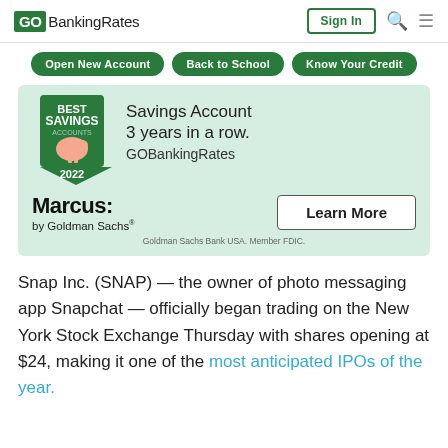GOBankingRates | Sign In
[Figure (screenshot): Navigation bar with three green pill buttons: Open New Account, Back to School, Know Your Credit]
[Figure (infographic): Marcus by Goldman Sachs advertisement. Features a green pennant badge reading BEST SAVINGS ACCOUNTS 2022 with a piggy bank illustration. Text: Savings Account 3 years in a row. GOBankingRates. Marcus by Goldman Sachs. Learn More button. Goldman Sachs Bank USA. Member FDIC.]
Snap Inc. (SNAP) — the owner of photo messaging app Snapchat — officially began trading on the New York Stock Exchange Thursday with shares opening at $24, making it one of the most anticipated IPOs of the year.